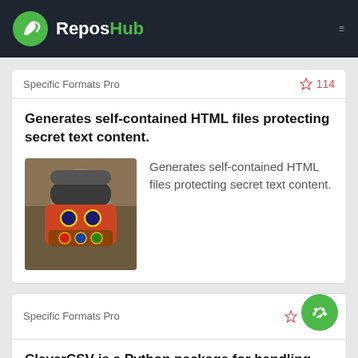ReposHub
Specific Formats Pro
114
Generates self-contained HTML files protecting secret text content.
[Figure (photo): User avatar photo showing a person wearing a colorful mask and hat]
Generates self-contained HTML files protecting secret text content.
Specific Formats Pro
CleverCSV is a Python package for handling messy CSV